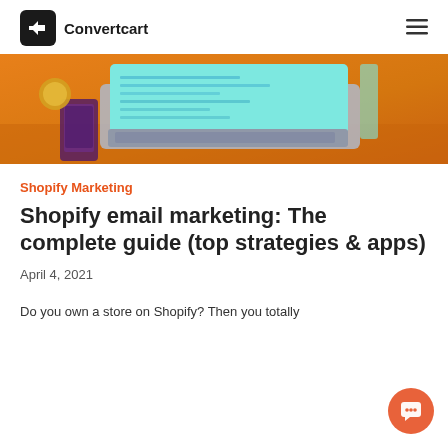Convertcart
[Figure (photo): Laptop with teal keyboard, smartphone, and round gold object on an orange-toned desk surface]
Shopify Marketing
Shopify email marketing: The complete guide (top strategies & apps)
April 4, 2021
Do you own a store on Shopify? Then you totally